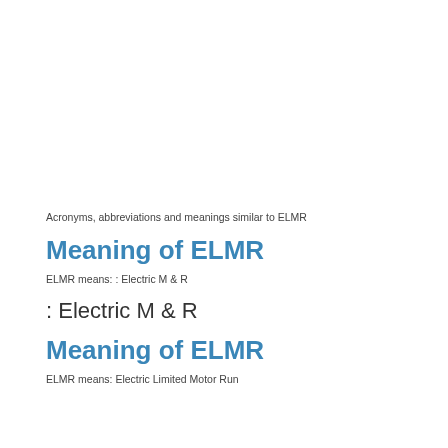Acronyms, abbreviations and meanings similar to ELMR
Meaning of ELMR
ELMR means: : Electric M & R
: Electric M & R
Meaning of ELMR
ELMR means: Electric Limited Motor Run